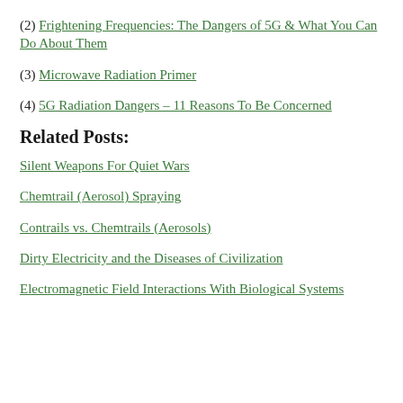(2) Frightening Frequencies: The Dangers of 5G & What You Can Do About Them
(3) Microwave Radiation Primer
(4) 5G Radiation Dangers – 11 Reasons To Be Concerned
Related Posts:
Silent Weapons For Quiet Wars
Chemtrail (Aerosol) Spraying
Contrails vs. Chemtrails (Aerosols)
Dirty Electricity and the Diseases of Civilization
Electromagnetic Field Interactions With Biological Systems